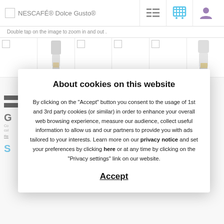NESCAFÉ® Dolce Gusto®
Double tap on the image to zoom in and out .
[Figure (screenshot): Row of six product thumbnail images showing coffee machines]
About cookies on this website
By clicking on the "Accept" button you consent to the usage of 1st and 3rd party cookies (or similar) in order to enhance your overall web browsing experience, measure our audience, collect useful information to allow us and our partners to provide you with ads tailored to your interests. Learn more on our privacy notice and set your preferences by clicking here or at any time by clicking on the "Privacy settings" link on our website.
Accept